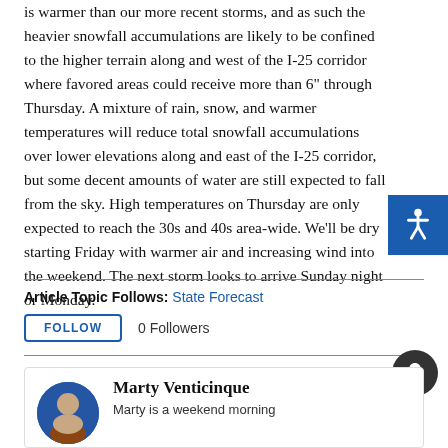is warmer than our more recent storms, and as such the heavier snowfall accumulations are likely to be confined to the higher terrain along and west of the I-25 corridor where favored areas could receive more than 6" through Thursday. A mixture of rain, snow, and warmer temperatures will reduce total snowfall accumulations over lower elevations along and east of the I-25 corridor, but some decent amounts of water are still expected to fall from the sky. High temperatures on Thursday are only expected to reach the 30s and 40s area-wide. We'll be dry starting Friday with warmer air and increasing wind into the weekend. The next storm looks to arrive Sunday night or Monday.
Article Topic Follows: State Forecast
FOLLOW   0 Followers
Marty Venticinque
Marty is a weekend morning